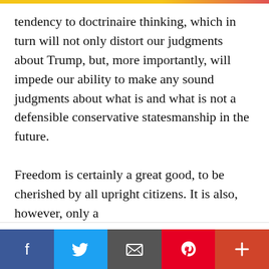tendency to doctrinaire thinking, which in turn will not only distort our judgments about Trump, but, more importantly, will impede our ability to make any sound judgments about what is and what is not a defensible conservative statesmanship in the future.
Freedom is certainly a great good, to be cherished by all upright citizens. It is also, however, only a
We use cookies on our website to give you the most relevant experience by remembering your preferences and repeat visits. By clicking “Accept All”, you consent to the use of ALL the cookies. However, you may visit "Cookie Settings" to provide a controlled consent.
[Figure (other): Social sharing bar with Facebook, Twitter, Email, Pinterest, and plus buttons]